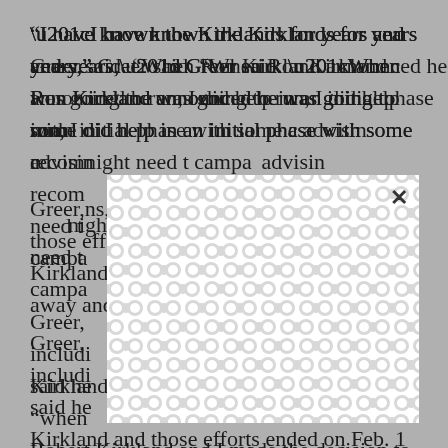“I have known the Kirklands for years and years,” Greer said. “When Ron Kirkland announced he was going to run, I did help in an initial phase with some of the issues [in recruiting] to allow me to advising some people I might recommend that I thought they might need to be aware of if they were going to be on the campaign.”

Greer, who has ties to several organizations, including those that backed Ron Kirkland in the race, said he had been working with Robert Kirkland and those efforts ended on Feb. 1 “when Robert Kirkland and I made the decision to break away and do our own thing.”
[Figure (other): A white modal/dialog box with a decorative repeating pattern background and an X close button in the top-right corner, overlaying the text content.]